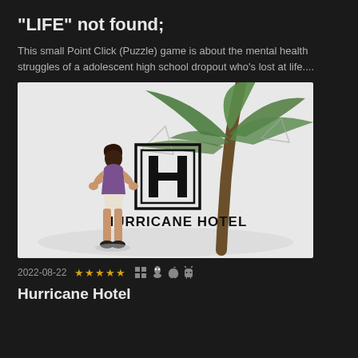"LIFE" not found;
This small Point Click (Puzzle) game is about the mental health struggles of a adolescent high school dropout who's lost at life....
[Figure (screenshot): Game promotional image showing Hurricane Hotel with a woman standing with her back to camera, a palm tree, and the Hurricane Hotel logo (stylized H in a square border) with text 'HURRICANE HOTEL' below it on a light grey background.]
2022-08-22 ★★★★★ (platform icons: Windows, Linux, Apple, Android)
Hurricane Hotel